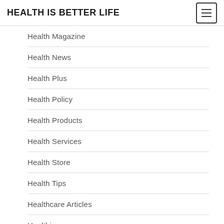HEALTH IS BETTER LIFE
Health Magazine
Health News
Health Plus
Health Policy
Health Products
Health Services
Health Store
Health Tips
Healthcare Articles
Healthier